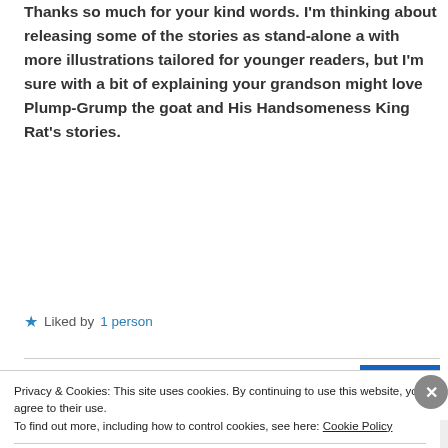Thanks so much for your kind words. I'm thinking about releasing some of the stories as stand-alone a with more illustrations tailored for younger readers, but I'm sure with a bit of explaining your grandson might love Plump-Grump the goat and His Handsomeness King Rat's stories.
Liked by 1 person
REPLY
Privacy & Cookies: This site uses cookies. By continuing to use this website, you agree to their use.
To find out more, including how to control cookies, see here: Cookie Policy
Close and accept